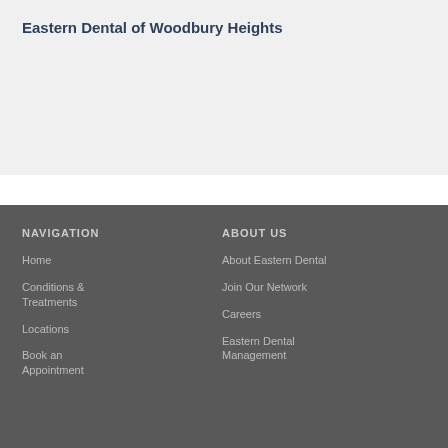Eastern Dental of Woodbury Heights
NAVIGATION
Home
Conditions & Treatments
Locations
Book an Appointment
ABOUT US
About Eastern Dental
Join Our Network
Careers
Eastern Dental Management